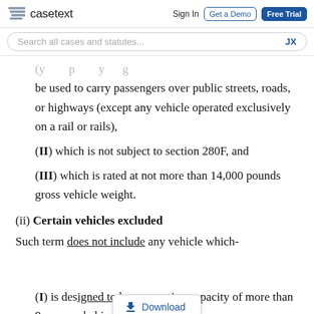[Figure (screenshot): Casetext website navigation bar with logo, Sign In, Get a Demo, and Free Trial buttons]
[Figure (screenshot): Search bar with placeholder text 'Search all cases and statutes...' and 'JX' label]
be used to carry passengers over public streets, roads, or highways (except any vehicle operated exclusively on a rail or rails),
(II) which is not subject to section 280F, and
(III) which is rated at not more than 14,000 pounds gross vehicle weight.
(ii) Certain vehicles excluded
Such term does not include any vehicle which-
(I) is designed to have a seating capacity of more than 9 persons behind the driver's seat